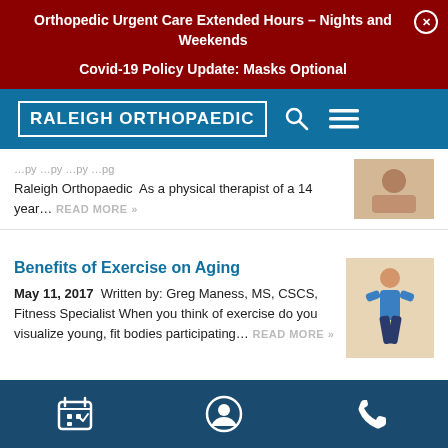Orthopedic Urgent Care Extended Hours – Nights and Weekends
Covid-19 Policy Update: Masks Optional
[Figure (logo): Raleigh Orthopaedic logo with search and menu icons on blue nav bar]
Raleigh Orthopaedic As a physical therapist of a 14 year… READ MORE »
Benefits of Exercise on Aging
May 11, 2017 Written by: Greg Maness, MS, CSCS, Fitness Specialist When you think of exercise do you visualize young, fit bodies participating… READ MORE »
Calendar | Profile | Phone